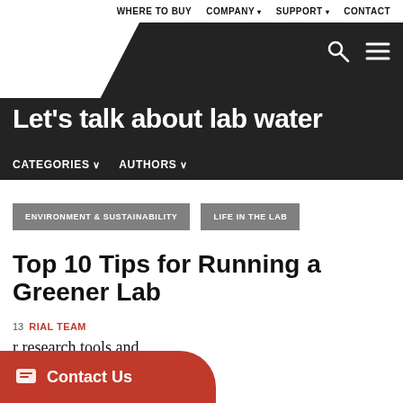WHERE TO BUY   COMPANY ▾   SUPPORT ▾   CONTACT
Let's talk about lab water
CATEGORIES ∨   AUTHORS ∨
ENVIRONMENT & SUSTAINABILITY
LIFE IN THE LAB
Top 10 Tips for Running a Greener Lab
13  RIAL TEAM
r research tools and
Contact Us